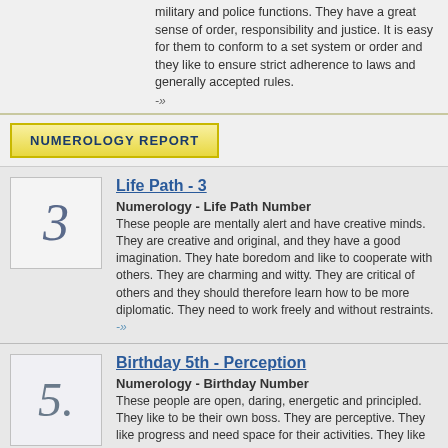military and police functions. They have a great sense of order, responsibility and justice. It is easy for them to conform to a set system or order and they like to ensure strict adherence to laws and generally accepted rules. -»
NUMEROLOGY REPORT
Life Path - 3
Numerology - Life Path Number
These people are mentally alert and have creative minds. They are creative and original, and they have a good imagination. They hate boredom and like to cooperate with others. They are charming and witty. They are critical of others and they should therefore learn how to be more diplomatic. They need to work freely and without restraints. -»
Birthday 5th - Perception
Numerology - Birthday Number
These people are open, daring, energetic and principled. They like to be their own boss. They are perceptive. They like progress and need space for their activities. They like changes and nothing is fixed for